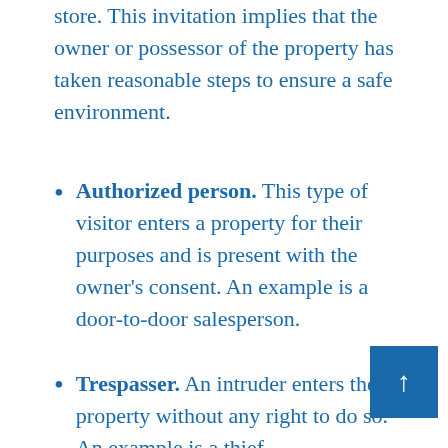store. This invitation implies that the owner or possessor of the property has taken reasonable steps to ensure a safe environment.
Authorized person. This type of visitor enters a property for their purposes and is present with the owner's consent. An example is a door-to-door salesperson.
Trespasser. An intruder enters the property without any right to do so. An example is a thief.
In many states where the liability analysis focuses on the injured person, there is a tendency to distinguish only between those